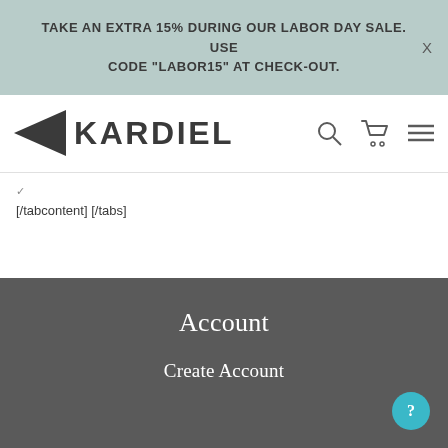TAKE AN EXTRA 15% DURING OUR LABOR DAY SALE. USE CODE "LABOR15" AT CHECK-OUT.
[Figure (logo): Kardiel brand logo with a black left-pointing arrow/triangle icon followed by the text KARDIEL in bold capital letters]
[/tabcontent] [/tabs]
Account
Create Account